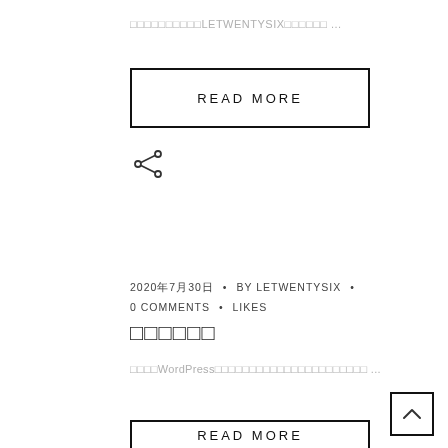□□□□□□□□□□LETWENTYSIX□□□□□□ ...
READ MORE
[Figure (illustration): Share icon (arrow pointing left with two dots)]
2020年7月30日 • BY LETWENTYSIX • 0 COMMENTS • LIKES
□□□□□□
□□□□WordPress□□□□□□□□□□□□□□□□□□□□□□ ...
READ MORE
[Figure (illustration): Back to top arrow button]